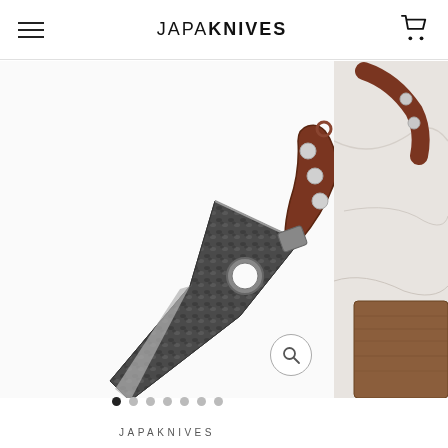JAPAKNIVES
[Figure (photo): A hammered steel kitchen/utility knife with a dark textured blade and a dark reddish-brown wooden handle with three silver rivets, photographed on a white background.]
[Figure (photo): Partial view of a knife with reddish handle on a light marble/stone surface with wooden cutting board, partially cropped at right edge.]
JAPAKNIVES